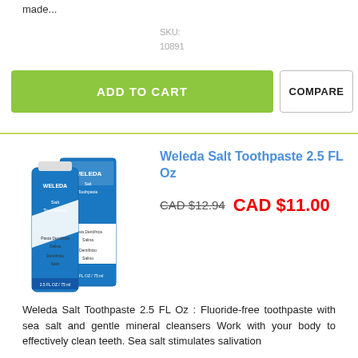made...
SKU:
10891
ADD TO CART
COMPARE
[Figure (photo): Weleda Salt Toothpaste product image showing two blue tubes/boxes]
Weleda Salt Toothpaste 2.5 FL Oz
CAD $12.94  CAD $11.00
Weleda Salt Toothpaste 2.5 FL Oz : Fluoride-free toothpaste with sea salt and gentle mineral cleansers Work with your body to effectively clean teeth. Sea salt stimulates salivation